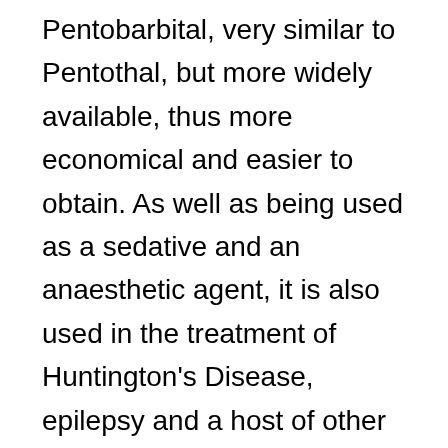Pentobarbital, very similar to Pentothal, but more widely available, thus more economical and easier to obtain. As well as being used as a sedative and an anaesthetic agent, it is also used in the treatment of Huntington's Disease, epilepsy and a host of other diseases which strike the central nervous system. It is also widely known for killing lame horses and a variety of terminally ill animals. On December 16, 2010, the first execution of a human being using a drug normally designated to euthanizing suffering animals was carried out on John Duty, 58 years old, put down with an